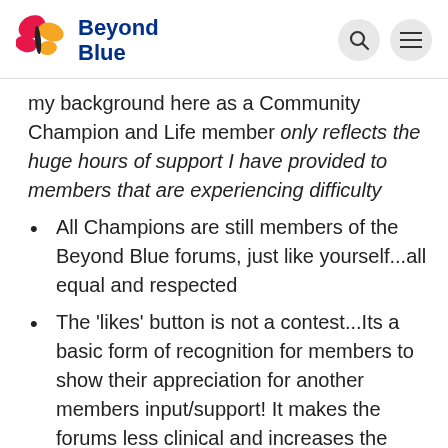Beyond Blue
my background here as a Community Champion and Life member only reflects the huge hours of support I have provided to members that are experiencing difficulty
All Champions are still members of the Beyond Blue forums, just like yourself...all equal and respected
The 'likes' button is not a contest...Its a basic form of recognition for members to show their appreciation for another members input/support! It makes the forums less clinical and increases the care factor 🟰
When you provide support to other members